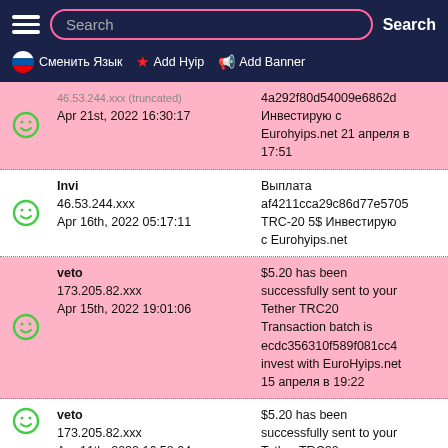Search  Search  Сменить Язык  Add Hyip  Add Banner
|  | User | Message |
| --- | --- | --- |
| ☺ | 46.53.244.xxx
Apr 21st, 2022 16:30:17 | 4a292f80d54009e6862d
Инвестирую с Eurohyips.net 21 апреля в 17:51 |
| ☺ | Invi
46.53.244.xxx
Apr 16th, 2022 05:17:11 | Выплата af4211cca29c86d77e5705
TRC-20 5$ Инвестирую с Eurohyips.net |
| ☺ | veto
173.205.82.xxx
Apr 15th, 2022 19:01:06 | $5.20 has been successfully sent to your Tether TRC20 Transaction batch is ecdc356310f589f081cc4 invest with EuroHyips.net 15 апреля в 19:22 |
| ☺ | veto
173.205.82.xxx
Apr 11th, 2022 16:58:04 | $5.20 has been successfully sent to your Tether TRC20 Transaction batch is 234068379a0db8c32cfba invest with EuroHyips.net |